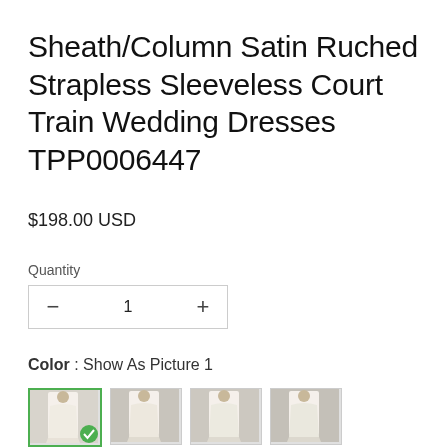Sheath/Column Satin Ruched Strapless Sleeveless Court Train Wedding Dresses TPP0006447
$198.00 USD
Quantity
1
Color : Show As Picture 1
[Figure (photo): Four thumbnail images of a wedding dress model wearing a sheath/column satin strapless gown; first thumbnail is selected with a green border and checkmark.]